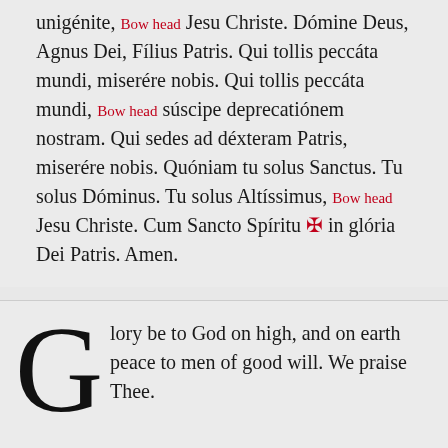unigénite, [Bow head] Jesu Christe. Dómine Deus, Agnus Dei, Fílius Patris. Qui tollis peccáta mundi, miserére nobis. Qui tollis peccáta mundi, [Bow head] súscipe deprecatiónem nostram. Qui sedes ad déxteram Patris, miserére nobis. Quóniam tu solus Sanctus. Tu solus Dóminus. Tu solus Altíssimus, [Bow head] Jesu Christe. Cum Sancto Spíritu ✢ in glória Dei Patris. Amen.
Glory be to God on high, and on earth peace to men of good will. We praise Thee.